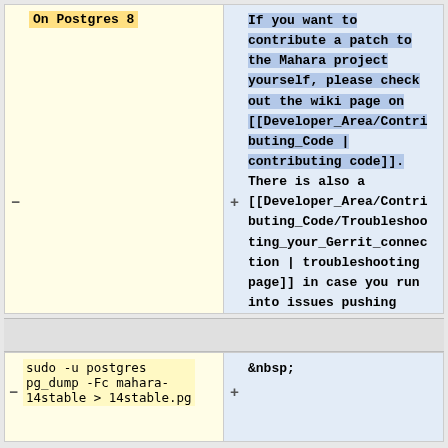On Postgres 8
If you want to contribute a patch to the Mahara project yourself, please check out the wiki page on [[Developer_Area/Contributing_Code | contributing code]]. There is also a [[Developer_Area/Contributing_Code/Troubleshooting_your_Gerrit_connection | troubleshooting page]] in case you run into issues pushing code to Gerrit.
sudo -u postgres pg_dump -Fc mahara-14stable > 14stable.pg
&nbsp;